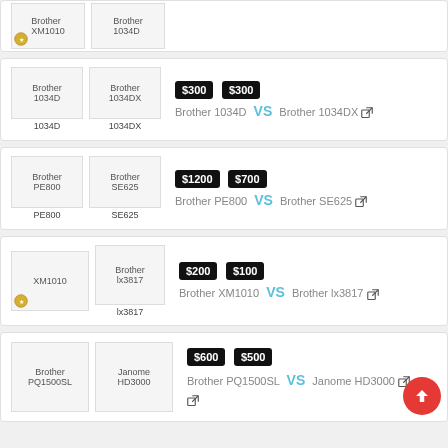[Figure (photo): Two sewing machine product images (partial, top of page)]
Brother 1034D VS Brother 1034DX — $300 vs $300
Brother PE800 VS Brother SE625 — $1200 vs $700
Brother XM1010 VS Brother lx3817 — $200 vs $100
Brother PQ1500SL VS Janome HD3000 — $600 vs $500